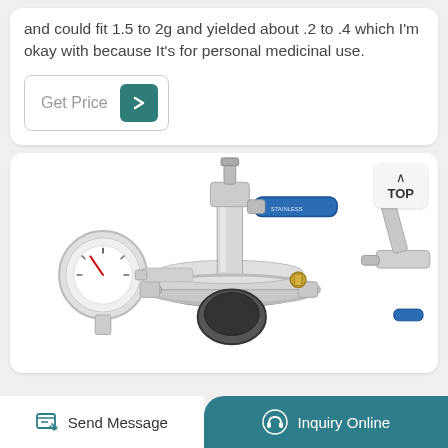and could fit 1.5 to 2g and yielded about .2 to .4 which I'm okay with because It's for personal medicinal use.
[Figure (other): Get Price button with teal arrow icon]
[Figure (photo): Stainless steel industrial valve/fitting assembly with blue handle valve, pressure gauge, and multiple connection ports on white background. A TOP navigation button is visible in the upper right corner.]
Send Message
Inquiry Online